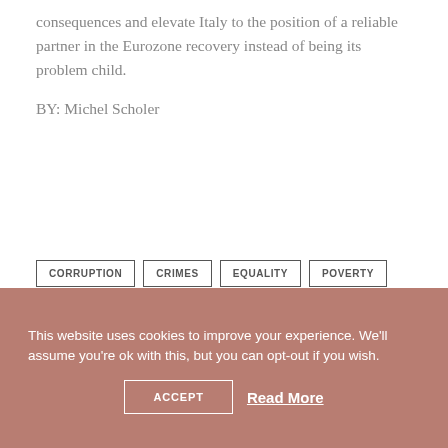consequences and elevate Italy to the position of a reliable partner in the Eurozone recovery instead of being its problem child.
BY: Michel Scholer
CORRUPTION
CRIMES
EQUALITY
POVERTY
UNEMPLOYMENT
YOUNG PEOPLE
This website uses cookies to improve your experience. We'll assume you're ok with this, but you can opt-out if you wish.
ACCEPT
Read More